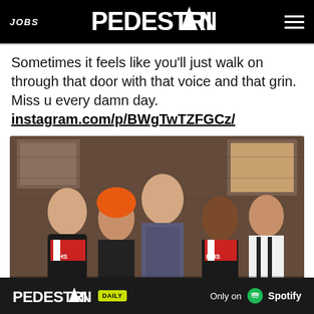JOBS | PEDESTRIAN | (menu)
Sometimes it feels like you'll just walk on through that door with that voice and that grin. Miss u every damn day. instagram.com/p/BWgTwTZFGCz/
[Figure (photo): Group photo of five people including cast members in cheerleader uniforms (WMHS) on what appears to be a TV set with brick wall background. A tall man in a plaid shirt stands in the center.]
PEDESTRIAN DAILY — Only on Spotify